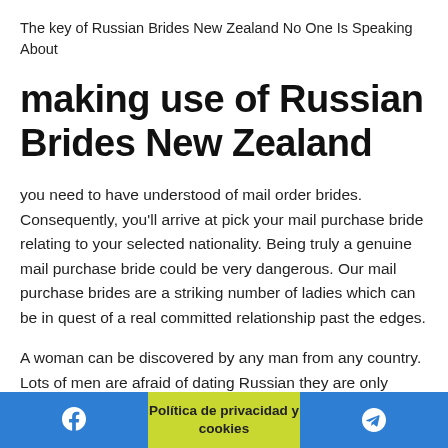The key of Russian Brides New Zealand No One Is Speaking About
making use of Russian Brides New Zealand
you need to have understood of mail order brides. Consequently, you'll arrive at pick your mail purchase bride relating to your selected nationality. Being truly a genuine mail purchase bride could be very dangerous. Our mail purchase brides are a striking number of ladies which can be in quest of a real committed relationship past the edges.
A woman can be discovered by any man from any country. Lots of men are afraid of dating Russian they are only
Política de privacidad y cookies